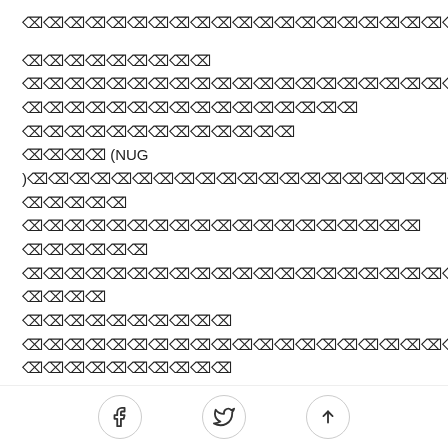[Myanmar script text - line 1]
[Myanmar script paragraph with (NUG) reference]
[Myanmar script paragraph with TTAJ reference]
[Myanmar script text - date reference 24-4-2021, time 11:00 - 2:30]
[Social share icons: Facebook, Twitter, Share/Up]